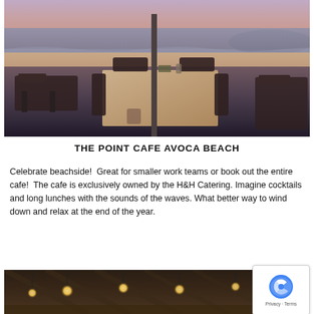[Figure (photo): Outdoor cafe seating area at dusk with tables and chairs overlooking Avoca Beach, with pink-hued sky and ocean in the background]
THE POINT CAFE AVOCA BEACH
Celebrate beachside!  Great for smaller work teams or book out the entire cafe!  The cafe is exclusively owned by the H&H Catering. Imagine cocktails and long lunches with the sounds of the waves. What better way to wind down and relax at the end of the year.
[Figure (photo): Interior of a venue with exposed beam ceiling and hanging pendant lights with warm glow, showing rustic wooden decor]